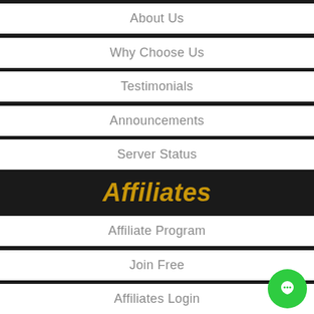About Us
Why Choose Us
Testimonials
Announcements
Server Status
Affiliates
Affiliate Program
Join Free
Affiliates Login